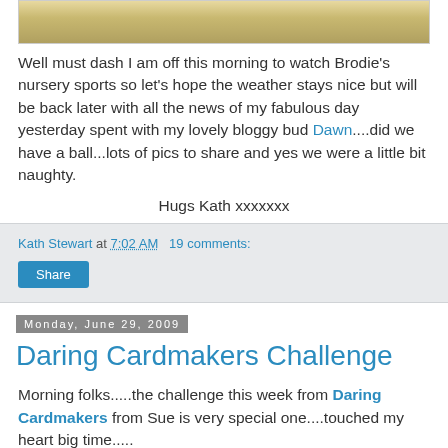[Figure (photo): Partial animal photo (fur/feathers), top portion cropped]
Well must dash I am off this morning to watch Brodie's nursery sports so let's hope the weather stays nice but will be back later with all the news of my fabulous day yesterday spent with my lovely bloggy bud Dawn....did we have a ball...lots of pics to share and yes we were a little bit naughty.
Hugs Kath xxxxxxx
Kath Stewart at 7:02 AM   19 comments:
Share
Monday, June 29, 2009
Daring Cardmakers Challenge
Morning folks.....the challenge this week from Daring Cardmakers from Sue is very special one....touched my heart big time.....